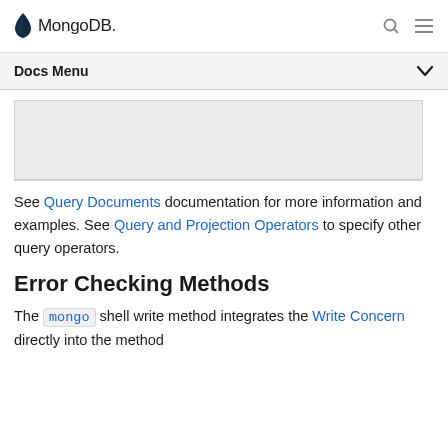MongoDB
Docs Menu
[Figure (other): Grey placeholder image box]
See Query Documents documentation for more information and examples. See Query and Projection Operators to specify other query operators.
Error Checking Methods
The mongo shell write method integrates the Write Concern directly into the method